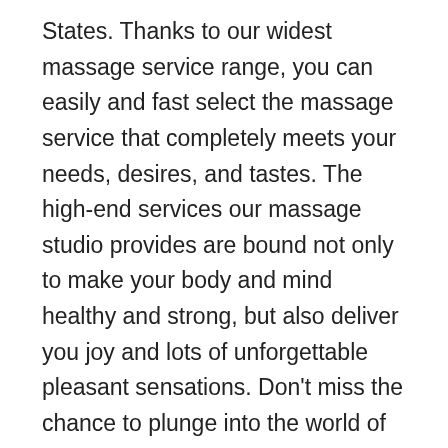States. Thanks to our widest massage service range, you can easily and fast select the massage service that completely meets your needs, desires, and tastes. The high-end services our massage studio provides are bound not only to make your body and mind healthy and strong, but also deliver you joy and lots of unforgettable pleasant sensations. Don't miss the chance to plunge into the world of extraordinary sensations you are most unlikely to have ever experienced! Nuru as one of the leading adult massages in NYC Erotic massage is known to be widespread and fairly popular in NYC and its surroundings among both professional masseuses and common massage fans. Thanks to its essential properties, the Nuru massage is currently most demanded in NYC massage parlors and salons. We